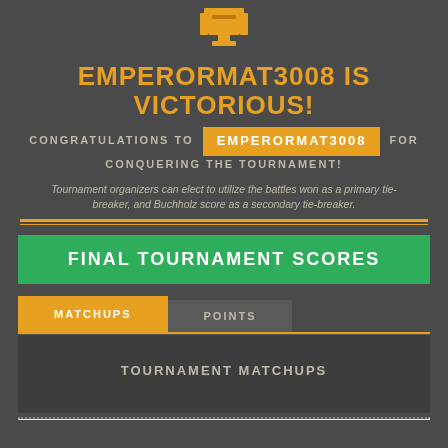[Figure (illustration): Trophy/award icon in golden/orange color at the top center]
EMPERORMAT3008 IS VICTORIOUS!
CONGRATULATIONS TO EmperorMat3008 FOR CONQUERING THE TOURNAMENT!
Tournament organizers can elect to utilize the battles won as a primary tie-breaker, and Buchholz score as a secondary tie-breaker.
FINAL TOURNAMENT SCORES
MATCHUPS
POINTS
TOURNAMENT MATCHUPS